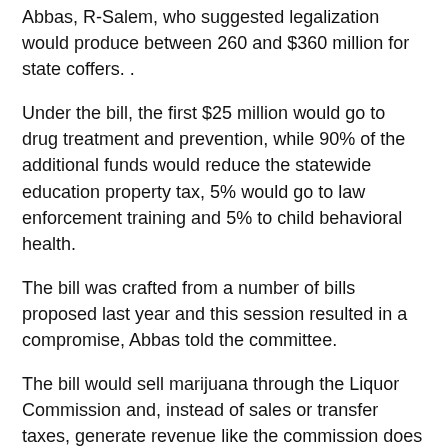Abbas, R-Salem, who suggested legalization would produce between 260 and $360 million for state coffers. .
Under the bill, the first $25 million would go to drug treatment and prevention, while 90% of the additional funds would reduce the statewide education property tax, 5% would go to law enforcement training and 5% to child behavioral health.
The bill was crafted from a number of bills proposed last year and this session resulted in a compromise, Abbas told the committee.
The bill would sell marijuana through the Liquor Commission and, instead of sales or transfer taxes, generate revenue like the commission does as profits from liquor sales.
Abbas said he doesn't want what has happened in other states with commercial sales where the tax and regulations are too high and the price is not competitive with the illicit market.